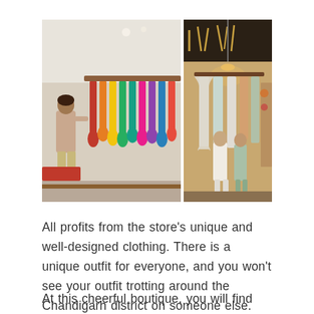[Figure (photo): Two side-by-side photos of a clothing boutique. Left photo shows a woman browsing a long rack of colorful hanging garments in a bright store interior. Right photo shows mannequins or people near hanging white and light-colored garments in a warmly lit boutique.]
All profits from the store's unique and well-designed clothing. There is a unique outfit for everyone, and you won't see your outfit trotting around the Chandigarh district on someone else.
At this cheerful boutique, you will find sassy